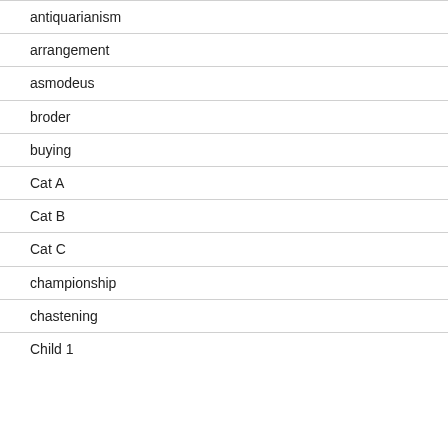antiquarianism
arrangement
asmodeus
broder
buying
Cat A
Cat B
Cat C
championship
chastening
Child 1